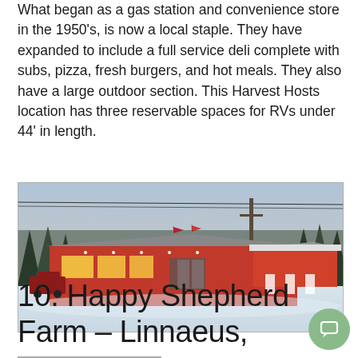What began as a gas station and convenience store in the 1950's, is now a local staple. They have expanded to include a full service deli complete with subs, pizza, fresh burgers, and hot meals. They also have a large outdoor section. This Harvest Hosts location has three reservable spaces for RVs under 44' in length.
[Figure (photo): Exterior photo of a red convenience store/deli building in winter with snow on the ground, flags visible, and trees in background at dusk]
10. Happy Shepherd Farm – Linnaeus, ME